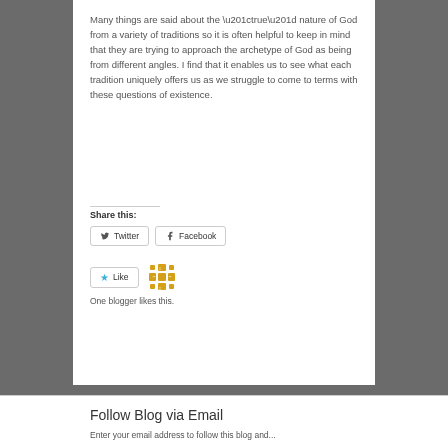Many things are said about the “true” nature of God from a variety of traditions so it is often helpful to keep in mind that they are trying to approach the archetype of God as being from different angles. I find that it enables us to see what each tradition uniquely offers us as we struggle to come to terms with these questions of existence.
Share this:
[Figure (other): Twitter and Facebook share buttons]
[Figure (other): Like button with star icon and decorative icon]
One blogger likes this.
Follow Blog via Email
Enter your email address to follow this blog and...